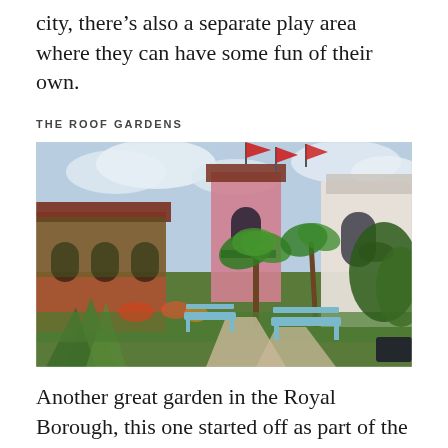city, there's also a separate play area where they can have some fun of their own.
THE ROOF GARDENS
[Figure (photo): A photograph of The Roof Gardens showing a Spanish-style pink and terracotta building with red flags, surrounded by lush tropical gardens including palm trees, agave plants, flowering borders, and blue wooden benches along a stone pathway.]
Another great garden in the Royal Borough, this one started off as part of the department